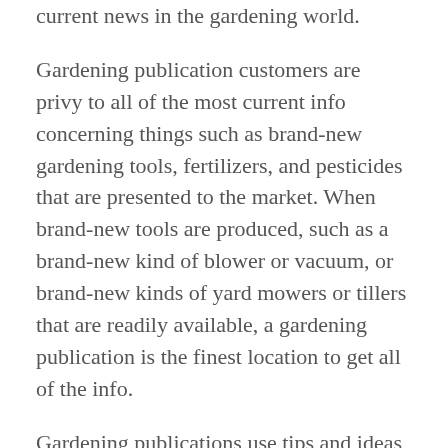current news in the gardening world.
Gardening publication customers are privy to all of the most current info concerning things such as brand-new gardening tools, fertilizers, and pesticides that are presented to the market. When brand-new tools are produced, such as a brand-new kind of blower or vacuum, or brand-new kinds of yard mowers or tillers that are readily available, a gardening publication is the finest location to get all of the info.
Gardening publications use tips and ideas on how to rid your garden of those ever annoying bugs. They will likewise go over the numerous methods to acknowledge and battle illness that might surpass your plants. The details you receive from the publication might be substantial.